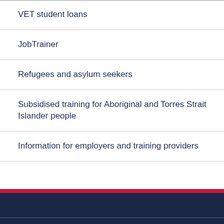VET student loans
JobTrainer
Refugees and asylum seekers
Subsidised training for Aboriginal and Torres Strait Islander people
Information for employers and training providers